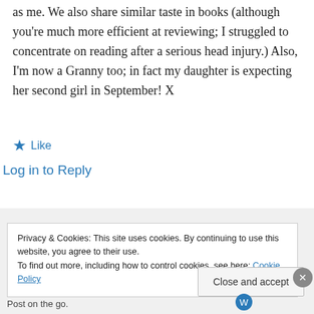as me. We also share similar taste in books (although you're much more efficient at reviewing; I struggled to concentrate on reading after a serious head injury.) Also, I'm now a Granny too; in fact my daughter is expecting her second girl in September! X
★ Like
Log in to Reply
Privacy & Cookies: This site uses cookies. By continuing to use this website, you agree to their use.
To find out more, including how to control cookies, see here: Cookie Policy
Close and accept
Post on the go.